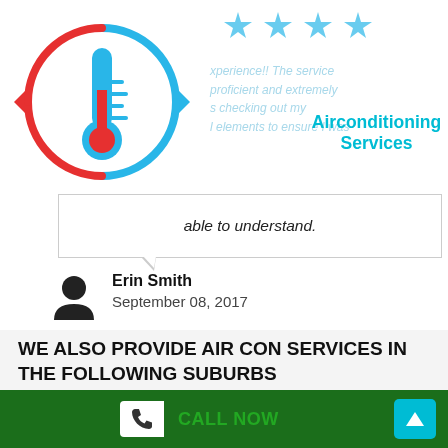[Figure (illustration): Air conditioning service logo: a thermometer with red and blue circular arrows around it, indicating heating and cooling cycle.]
[Figure (illustration): Four blue star rating icons in a row at the top of the review section.]
xperience!! The service proficient and extremely s checking out my I elements to ensure I was
Airconditioning Services
[Figure (illustration): Blue square menu/hamburger icon with three white horizontal lines.]
able to understand.
Erin Smith
September 08, 2017
WE ALSO PROVIDE AIR CON SERVICES IN THE FOLLOWING SUBURBS
[Figure (illustration): White phone icon on white square button with green CALL NOW label, inside green footer bar. Cyan up-arrow button on the right.]